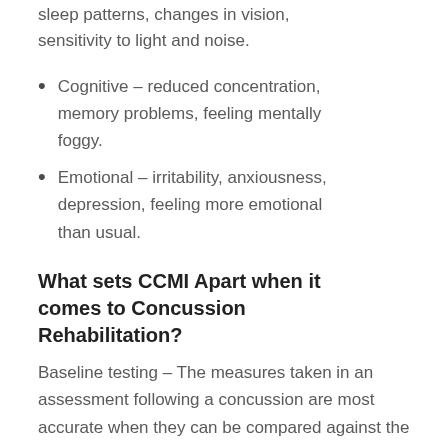sleep patterns, changes in vision, sensitivity to light and noise.
Cognitive – reduced concentration, memory problems, feeling mentally foggy.
Emotional – irritability, anxiousness, depression, feeling more emotional than usual.
What sets CCMI Apart when it comes to Concussion Rehabilitation?
Baseline testing – The measures taken in an assessment following a concussion are most accurate when they can be compared against the same measures taken before your injury. This helps to most accurately determine the effects of